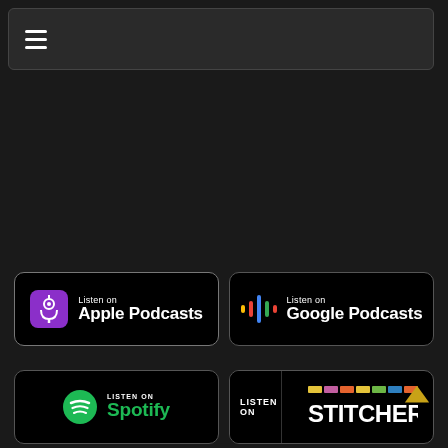≡ (hamburger menu icon)
[Figure (logo): Listen on Apple Podcasts badge — black rounded rectangle with purple podcast icon and white text 'Listen on Apple Podcasts']
[Figure (logo): Listen on Google Podcasts badge — black rounded rectangle with colorful Google Podcasts bars icon and white text 'Listen on Google Podcasts']
[Figure (logo): Listen on Spotify badge — black rounded rectangle with green Spotify logo and green text 'Spotify']
[Figure (logo): Listen on Stitcher badge — black rounded rectangle with Stitcher colored bar logo and text 'LISTEN ON STITCHER']